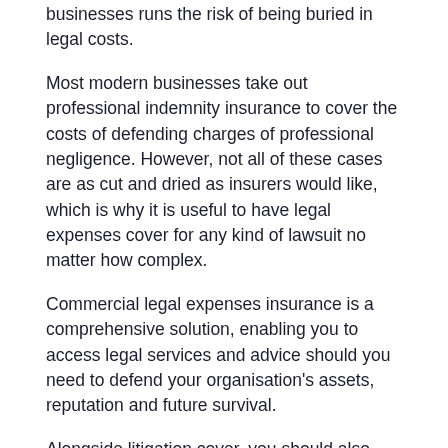businesses runs the risk of being buried in legal costs.
Most modern businesses take out professional indemnity insurance to cover the costs of defending charges of professional negligence. However, not all of these cases are as cut and dried as insurers would like, which is why it is useful to have legal expenses cover for any kind of lawsuit no matter how complex.
Commercial legal expenses insurance is a comprehensive solution, enabling you to access legal services and advice should you need to defend your organisation's assets, reputation and future survival.
Alongside litigation cover, you should also consider taking out public liability and employers' liability insurance, the latter of which is required by law if you have employees.